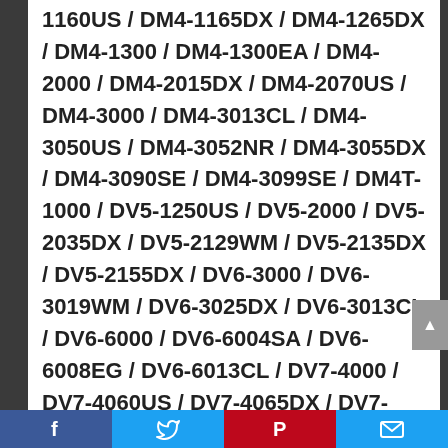1160US / DM4-1165DX / DM4-1265DX / DM4-1300 / DM4-1300EA / DM4-2000 / DM4-2015DX / DM4-2070US / DM4-3000 / DM4-3013CL / DM4-3050US / DM4-3052NR / DM4-3055DX / DM4-3090SE / DM4-3099SE / DM4T-1000 / DV5-1250US / DV5-2000 / DV5-2035DX / DV5-2129WM / DV5-2135DX / DV5-2155DX / DV6-3000 / DV6-3019WM / DV6-3025DX / DV6-3013CL / DV6-6000 / DV6-6004SA / DV6-6008EG / DV6-6013CL / DV7-4000 / DV7-4060US / DV7-4065DX / DV7-6000
HP Envy
17 / 17-1181NR / 17-2070NR / 17-2090NR